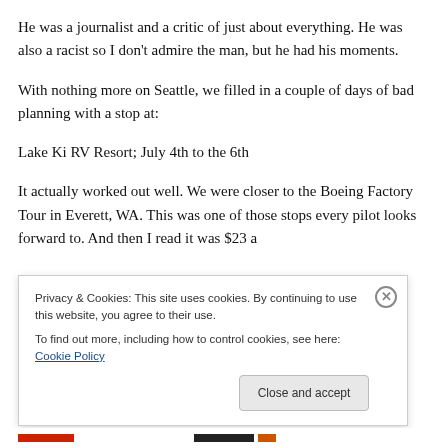He was a journalist and a critic of just about everything. He was also a racist so I don't admire the man, but he had his moments.
With nothing more on Seattle, we filled in a couple of days of bad planning with a stop at:
Lake Ki RV Resort; July 4th to the 6th
It actually worked out well. We were closer to the Boeing Factory Tour in Everett, WA. This was one of those stops every pilot looks forward to. And then I read it was $23 a
Privacy & Cookies: This site uses cookies. By continuing to use this website, you agree to their use.
To find out more, including how to control cookies, see here: Cookie Policy
Close and accept